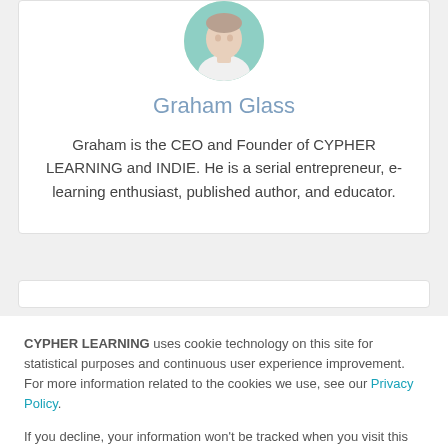[Figure (photo): Circular profile photo of Graham Glass, a person in a white shirt with a blurred teal/green background.]
Graham Glass
Graham is the CEO and Founder of CYPHER LEARNING and INDIE. He is a serial entrepreneur, e-learning enthusiast, published author, and educator.
CYPHER LEARNING uses cookie technology on this site for statistical purposes and continuous user experience improvement. For more information related to the cookies we use, see our Privacy Policy.
If you decline, your information won't be tracked when you visit this website.